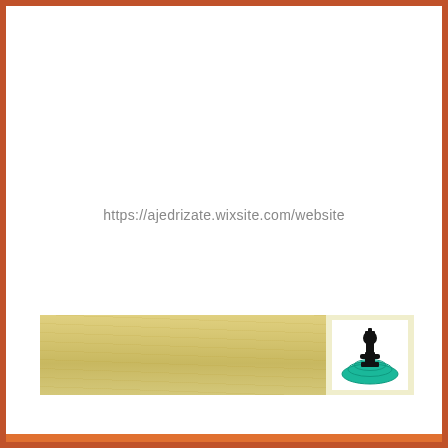https://ajedrizate.wixsite.com/website
[Figure (logo): A banner with wood-grain tan/gold texture on the left and a light yellow square on the right containing a white box with a black chess king piece icon on a teal/green circular base logo.]